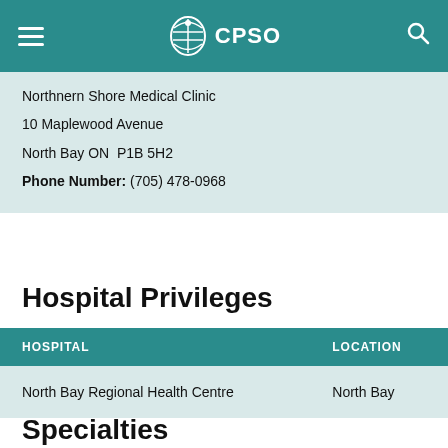CPSO
Northnern Shore Medical Clinic
10 Maplewood Avenue
North Bay ON  P1B 5H2
Phone Number: (705) 478-0968
Hospital Privileges
| HOSPITAL | LOCATION |
| --- | --- |
| North Bay Regional Health Centre | North Bay |
Specialties